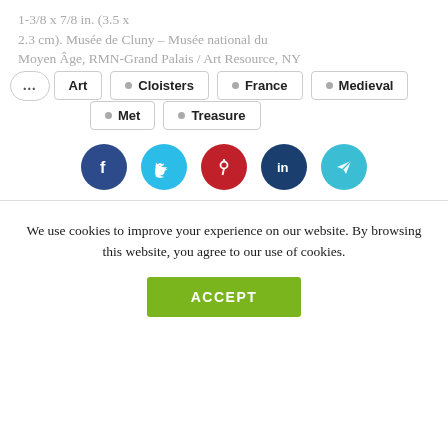1-3/8 x 7/8 in. (3.5 x 2.3 cm). Musée de Cluny – Musée national du Moyen Âge, RMN-Grand Palais / Art Resource, NY
Art
Cloisters
France
Medieval
Met
Treasure
[Figure (infographic): Social media share buttons: Facebook (dark blue), Twitter (light blue), Pinterest (red), LinkedIn (dark blue), Telegram (light blue)]
We use cookies to improve your experience on our website. By browsing this website, you agree to our use of cookies.
ACCEPT